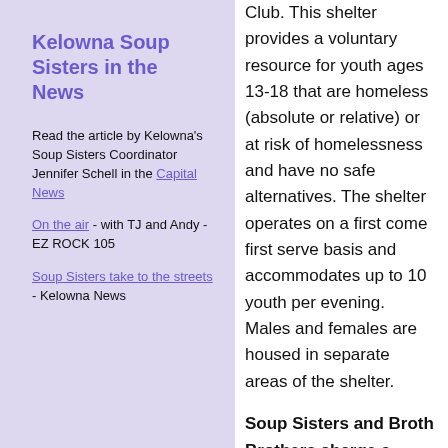Kelowna Soup Sisters in the News
Read the article by Kelowna's Soup Sisters Coordinator Jennifer Schell in the Capital News
On the air - with TJ and Andy - EZ ROCK 105
Soup Sisters take to the streets - Kelowna News
Club. This shelter provides a voluntary resource for youth ages 13-18 that are homeless (absolute or relative) or at risk of homelessness and have no safe alternatives. The shelter operates on a first come first serve basis and accommodates up to 10 youth per evening. Males and females are housed in separate areas of the shelter.
Soup Sisters and Broth Brothers charge a participation fee per person to cover the expenses of ingredients for the soups, the venue, equipment, supervision, and a Chef or